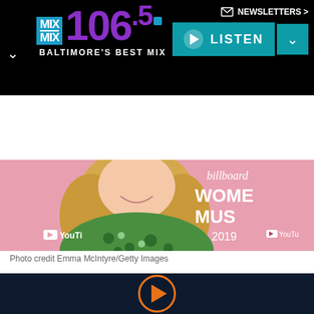MIX 106.5 Baltimore's Best Mix — NEWSLETTERS > — LISTEN
NEWS
Lisa Rinna, 59, sizzles in a black bikini for lake side photo shoot
[Figure (photo): Blonde woman in green polka-dot dress smiling in front of a pink Billboard Women in Music 2019 backdrop with YouTube logo]
Photo credit Emma McIntyre/Getty Images
[Figure (other): Orange play button circle icon on dark navy background]